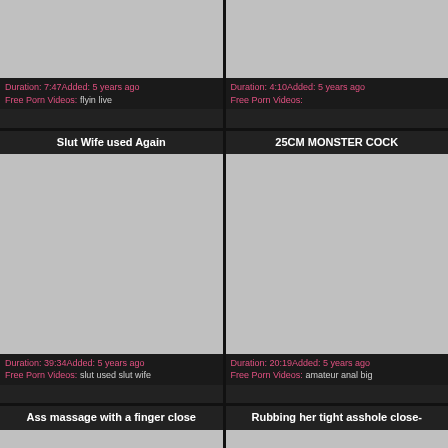[Figure (screenshot): Video thumbnail placeholder top-left, gray]
Duration: 7:47Added: 5 years ago
Free Porn Videos: flyin live
[Figure (screenshot): Video thumbnail placeholder top-right, gray]
Duration: 4:10Added: 5 years ago
Free Porn Videos:
Slut Wife used Again
25CM MONSTER COCK
[Figure (screenshot): Video thumbnail placeholder middle-left, gray]
Duration: 39:34Added: 5 years ago
Free Porn Videos: slut used slut wife
[Figure (screenshot): Video thumbnail placeholder middle-right, gray]
Duration: 20:19Added: 5 years ago
Free Porn Videos: amateur anal big
Ass massage with a finger close
Rubbing her tight asshole close-
[Figure (screenshot): Video thumbnail placeholder bottom-left, gray partial]
[Figure (screenshot): Video thumbnail placeholder bottom-right, gray partial]